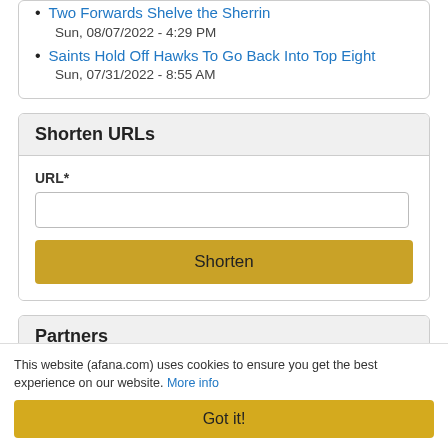Two Forwards Shelve the Sherrin
Sun, 08/07/2022 - 4:29 PM
Saints Hold Off Hawks To Go Back Into Top Eight
Sun, 07/31/2022 - 8:55 AM
Shorten URLs
URL*
Partners
This website (afana.com) uses cookies to ensure you get the best experience on our website. More info
Got it!